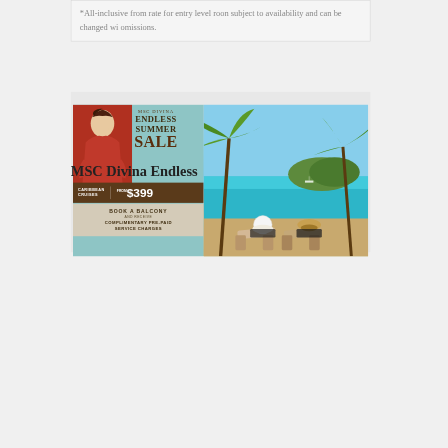*All-inclusive from rate for entry level roon subject to availability and can be changed wi omissions.
[Figure (advertisement): MSC Divina Endless Summer Sale advertisement. Shows a woman in red dress on left panel with teal background. Text: MSC DIVINA, ENDLESS SUMMER SALE, CARIBBEAN CRUISES FROM $399. Book a balcony and receive complimentary pre-paid service charges. Right side shows beach scene with two people in lounge chairs under palm trees.]
MSC Divina Endless